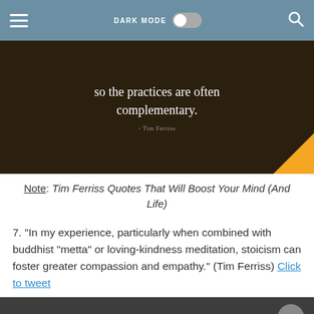DARK MODE
[Figure (photo): Dark brown background quote image with white serif text reading 'so the practices are often complementary.' and small author attribution 'Tim Ferriss'. Orange triangle in bottom-right corner.]
Note: Tim Ferriss Quotes That Will Boost Your Mind (And Life)
7. "In my experience, particularly when combined with buddhist “metta” or loving-kindness meditation, stoicism can foster greater compassion and empathy." (Tim Ferriss) Click to tweet
[Figure (photo): Dark gray background quote image with white serif text beginning 'In my experience, particularly' — partially cut off at bottom.]